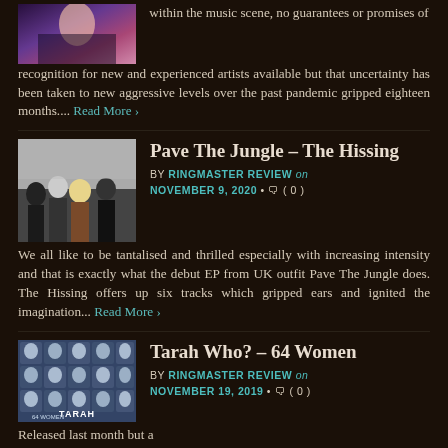[Figure (photo): Partial image of a performer on stage with purple/pink lighting]
within the music scene, no guarantees or promises of recognition for new and experienced artists available but that uncertainty has been taken to new aggressive levels over the past pandemic gripped eighteen months....
Read More ›
Pave The Jungle – The Hissing
[Figure (photo): Band photo of Pave The Jungle, four members in dark clothing, one blonde woman]
BY RINGMASTER REVIEW on NOVEMBER 9, 2020 • ( 0 )
We all like to be tantalised and thrilled especially with increasing intensity and that is exactly what the debut EP from UK outfit Pave The Jungle does. The Hissing offers up six tracks which gripped ears and ignited the imagination...
Read More ›
Tarah Who? – 64 Women
[Figure (photo): Album cover for Tarah Who? 64 Women showing repeated face imagery with blue tones]
BY RINGMASTER REVIEW on NOVEMBER 19, 2019 • ( 0 )
Released last month but a